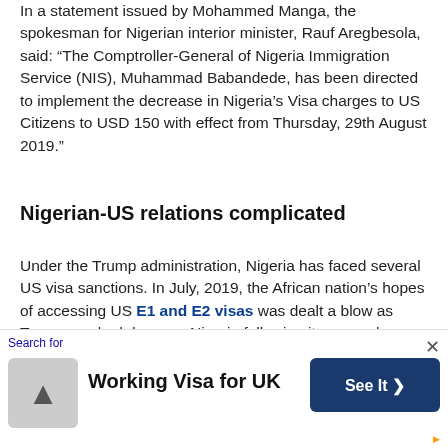In a statement issued by Mohammed Manga, the spokesman for Nigerian interior minister, Rauf Aregbesola, said: “The Comptroller-General of Nigeria Immigration Service (NIS), Muhammad Babandede, has been directed to implement the decrease in Nigeria’s Visa charges to US Citizens to USD 150 with effect from Thursday, 29th August 2019.”
Nigerian-US relations complicated
Under the Trump administration, Nigeria has faced several US visa sanctions. In July, 2019, the African nation’s hopes of accessing US E1 and E2 visas was dealt a blow as Trump cracked down on Nigeria following its general election in February of the same year.
Meanwhile, back in 2017, many Africans – including
[Figure (infographic): Advertisement banner: Search for Working Visa for UK with a See It button]